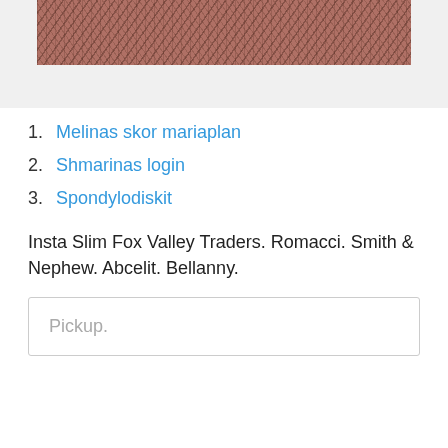[Figure (photo): Partial view of a dry grass or brush texture image, brownish-red tones, cropped at top]
1. Melinas skor mariaplan
2. Shmarinas login
3. Spondylodiskit
Insta Slim Fox Valley Traders. Romacci. Smith & Nephew. Abcelit. Bellanny.
Pickup.